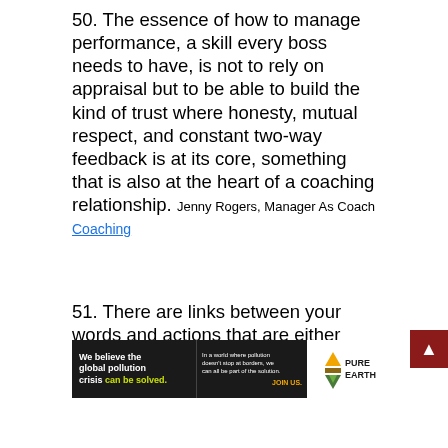50. The essence of how to manage performance, a skill every boss needs to have, is not to rely on appraisal but to be able to build the kind of trust where honesty, mutual respect, and constant two-way feedback is at its core, something that is also at the heart of a coaching relationship. Jenny Rogers, Manager As Coach
Coaching
51. There are links between your words and actions that are either positive or negative. If you insist on honesty and then privately brag...
[Figure (other): Pure Earth advertisement banner: 'We believe the global pollution crisis can be solved.' with tagline about joining the solution.]